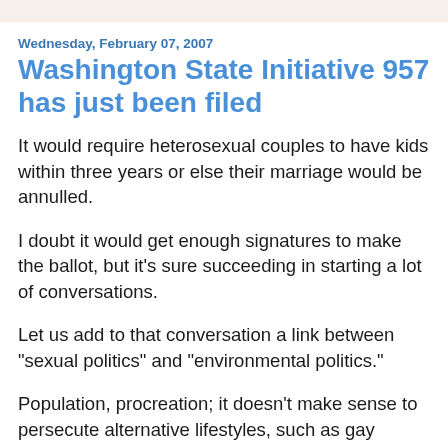Wednesday, February 07, 2007
Washington State Initiative 957 has just been filed
It would require heterosexual couples to have kids within three years or else their marriage would be annulled.
I doubt it would get enough signatures to make the ballot, but it's sure succeeding in starting a lot of conversations.
Let us add to that conversation a link between "sexual politics" and "environmental politics."
Population, procreation; it doesn't make sense to persecute alternative lifestyles, such as gay lifestyles, while the world's getting too crowded and the north